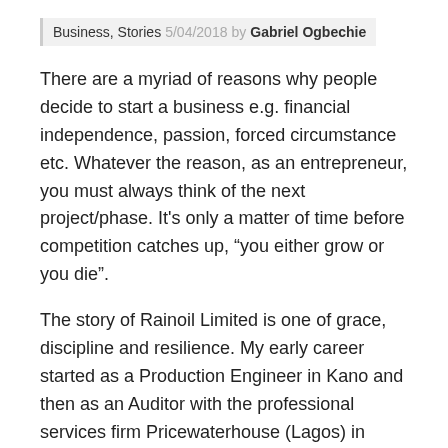Business, Stories 5/04/2018 by Gabriel Ogbechie
There are a myriad of reasons why people decide to start a business e.g. financial independence, passion, forced circumstance etc. Whatever the reason, as an entrepreneur, you must always think of the next project/phase. It's only a matter of time before competition catches up, “you either grow or you die”.
The story of Rainoil Limited is one of grace, discipline and resilience. My early career started as a Production Engineer in Kano and then as an Auditor with the professional services firm Pricewaterhouse (Lagos) in 1992. I also worked briefly at Ascon Oil